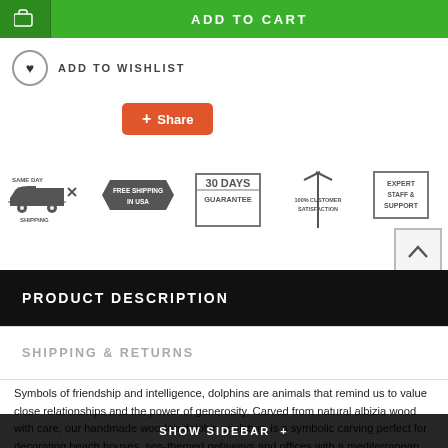[Figure (other): Add to Cart green button with cart icon]
ADD TO WISHLIST
[Figure (other): Share button (orange/red) with plus icon]
[Figure (infographic): Five trust badges: Same Day Shipping, Free Shipping in USA, 30 Days Guarantee, 100% Customer Satisfaction, Expert Staff & Support]
PRODUCT DESCRIPTION
SHIPPING & RETURNS
Symbols of friendship and intelligence, dolphins are animals that remind us to value close relationships and the power of generosity. Carved from natural albizia wood with care, our handmade wooden dolphin sculpture is a symbolic carving perfect for decorating beach houses, sea-themed getaways and offices with a mediterranean seas...
SHOW SIDEBAR +